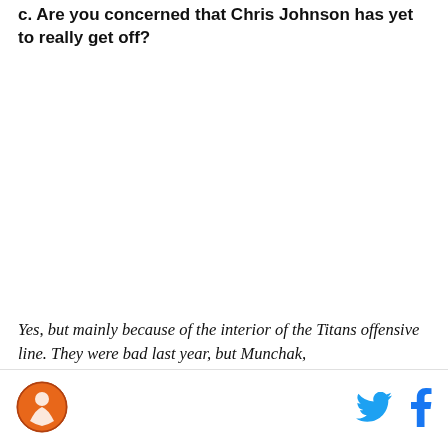c. Are you concerned that Chris Johnson has yet to really get off?
Yes, but mainly because of the interior of the Titans offensive line. They were bad last year, but Munchak,
[Figure (logo): Circular logo with orange background featuring a figure, possibly a sports team logo]
[Figure (logo): Twitter bird icon in cyan/blue color]
[Figure (logo): Facebook 'f' icon in blue color]